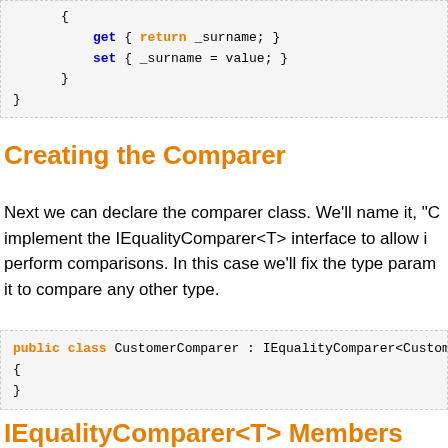[Figure (screenshot): Code block showing get/set accessors for _surname property]
Creating the Comparer
Next we can declare the comparer class. We'll name it, "Cu implement the IEqualityComparer<T> interface to allow i perform comparisons. In this case we'll fix the type param it to compare any other type.
[Figure (screenshot): Code block showing: public class CustomerComparer : IEqualityComparer<Custome { }]
IEqualityComparer<T> Members
The IEqualityComparer<T> interface defines two membe